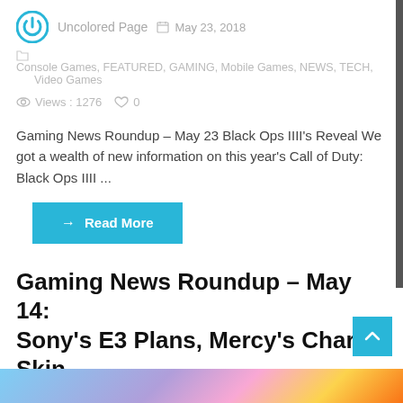Uncolored Page   May 23, 2018
Console Games, FEATURED, GAMING, Mobile Games, NEWS, TECH, Video Games
Views : 1276   0
Gaming News Roundup – May 23 Black Ops IIII's Reveal We got a wealth of new information on this year's Call of Duty: Black Ops IIII ...
Read More
Gaming News Roundup – May 14: Sony's E3 Plans, Mercy's Charity Skin, Switch's Online Details